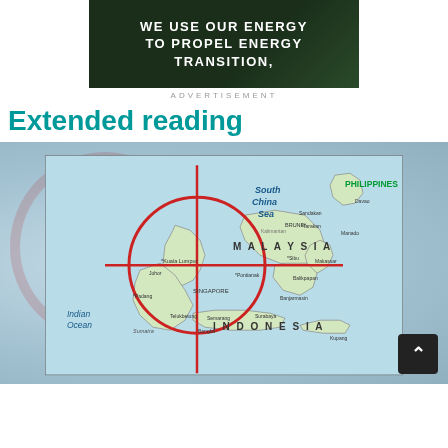[Figure (other): Advertisement banner with dark green background and bold white text reading 'WE USE OUR ENERGY TO PROPEL ENERGY TRANSITION,']
ADVERTISEMENT
Extended reading
[Figure (map): Map of Southeast Asia showing South China Sea, Malaysia, Indonesia, Philippines, Singapore, Indian Ocean. A red crosshair/target circle is centered on the Malaysia-Singapore region. Countries and seas are labeled.]